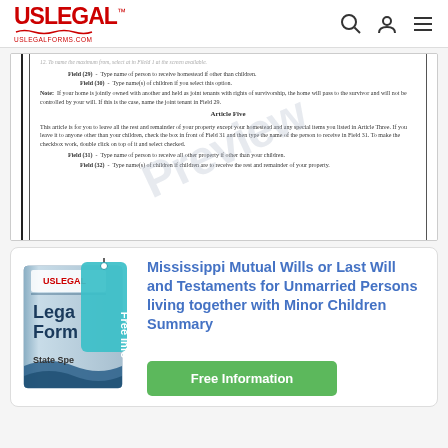USLegal™ uslegalforms.com
[Figure (screenshot): Document preview showing legal will form text with fields 29, 30, Article Five section, and fields 31, 32. Has a 'Preview' watermark diagonally across the document.]
[Figure (illustration): USLegal legal form book cover image with a teal 'Free Info' tag hanging off it. Shows 'USLEGAL', 'Legal Form', 'State Spe...' text on a blue-grey book cover.]
Mississippi Mutual Wills or Last Will and Testaments for Unmarried Persons living together with Minor Children Summary
Free Information